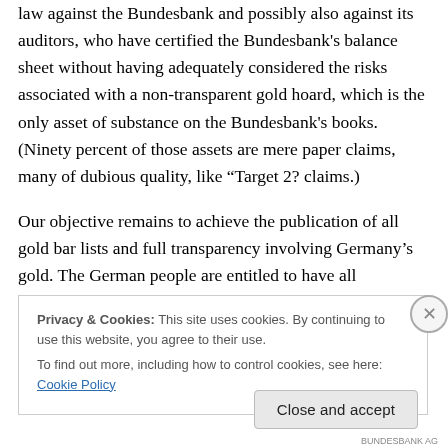law against the Bundesbank and possibly also against its auditors, who have certified the Bundesbank's balance sheet without having adequately considered the risks associated with a non-transparent gold hoard, which is the only asset of substance on the Bundesbank's books. (Ninety percent of those assets are mere paper claims, many of dubious quality, like “Target 2? claims.)
Our objective remains to achieve the publication of all gold bar lists and full transparency involving Germany’s gold. The German people are entitled to have all information about their golden property. And the American people have
Privacy & Cookies: This site uses cookies. By continuing to use this website, you agree to their use.
To find out more, including how to control cookies, see here: Cookie Policy
Close and accept